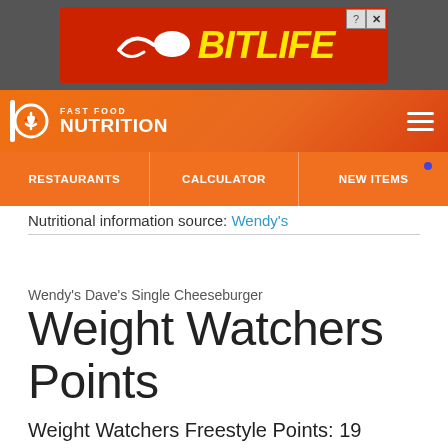[Figure (screenshot): BitLife advertisement banner with orange background, sperm logo icon, and yellow bold italic BitLife text, with close buttons]
FAST FOOD NUTRITION — RESTAURANTS | CALCULATOR | NEW ITEMS
Nutritional information source: Wendy's
Wendy's Dave's Single Cheeseburger
Weight Watchers Points
Weight Watchers Freestyle Points: 19
Weight Watchers SmartPoints: 19